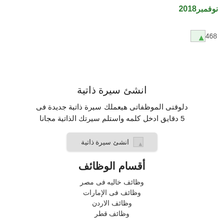نوفمبر2018
[Figure (illustration): Small image placeholder icon with number 468]
انشئ سيرة ذاتية
دلوقتى الموظفاتى هيعملك سيرة ذاتية جديدة فى 5 دقايق ادخل كلمه واستلم سيرتك الذاتية مجانا
[Figure (screenshot): Button labeled انشئ سيرة ذاتية with icon]
أقسام الوظائف
وظائف خاليه فى مصر
وظائف فى الإمارات
وظائف الاردن
وظائف قطر